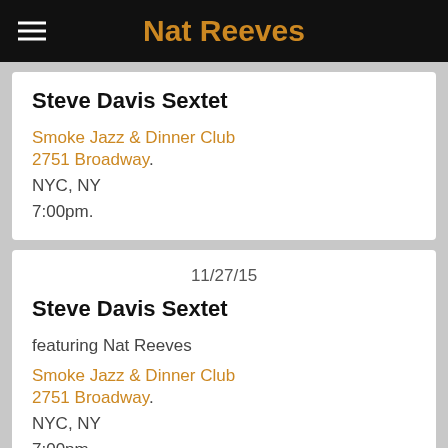Nat Reeves
Steve Davis Sextet
Smoke Jazz & Dinner Club
2751 Broadway.
NYC, NY
7:00pm.
11/27/15
Steve Davis Sextet
featuring Nat Reeves
Smoke Jazz & Dinner Club
2751 Broadway.
NYC, NY
7:00pm.